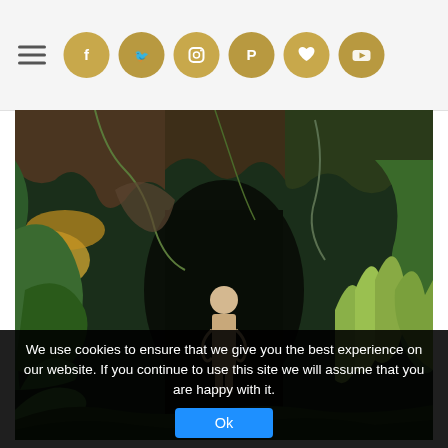Navigation header with hamburger menu and social media icons (Facebook, Twitter, Instagram, Pinterest, Bloglovin, YouTube)
[Figure (photo): A person standing at the entrance of a dark cave or grotto, surrounded by lush green tropical vegetation, ferns, hanging vines, and yellow-orange flowering plants. The figure stands in shadow at the cave mouth with natural rock formation overhead.]
We use cookies to ensure that we give you the best experience on our website. If you continue to use this site we will assume that you are happy with it.